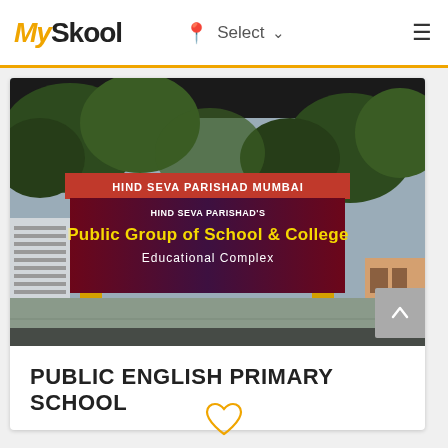MySkool — Select
[Figure (photo): Photo of a school entrance gate with a sign reading 'HIND SEVA PARISHAD MUMBAI' on top and 'HIND SEVA PARISHAD'S Public Group of School & College Educational Complex' on a banner board. Yellow gate pillars visible, trees in background.]
PUBLIC ENGLISH PRIMARY SCHOOL